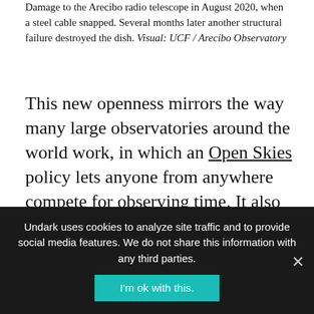Damage to the Arecibo radio telescope in August 2020, when a steel cable snapped. Several months later another structural failure destroyed the dish. Visual: UCF / Arecibo Observatory
This new openness mirrors the way many large observatories around the world work, in which an Open Skies policy lets anyone from anywhere compete for observing time. It also reflects China's broader efforts to host world-class facilities that foreign researchers envy — a flex of global muscle. But scientific tensions and suspicions currently run high between the U.S. and China: American researchers have faced increasing censure for taking undisclosed money from China, the
Undark uses cookies to analyze site traffic and to provide social media features. We do not share this information with any third parties.
I'm ok with this.